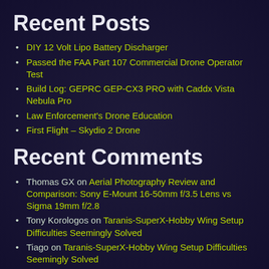Recent Posts
DIY 12 Volt Lipo Battery Discharger
Passed the FAA Part 107 Commercial Drone Operator Test
Build Log: GEPRC GEP-CX3 PRO with Caddx Vista Nebula Pro
Law Enforcement's Drone Education
First Flight – Skydio 2 Drone
Recent Comments
Thomas GX on Aerial Photography Review and Comparison: Sony E-Mount 16-50mm f/3.5 Lens vs Sigma 19mm f/2.8
Tony Korologos on Taranis-SuperX-Hobby Wing Setup Difficulties Seemingly Solved
Tiago on Taranis-SuperX-Hobby Wing Setup Difficulties Seemingly Solved
quadcopter uk on New Kind of DJI Flyaway
Jeff on Drone Paranoia – Top Five Reasons Drones Suck for Spying